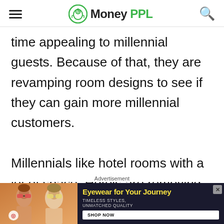MoneyPPL
time appealing to millennial guests. Because of that, they are revamping room designs to see if they can gain more millennial customers.
Millennials like hotel rooms with a lot of space. Hotels are removing desks, dressers, and closet space to make rooms seem bigger. They install huge TVs and fast Wi-Fi
Advertisement
[Figure (other): Advertisement banner for eyewear: 'Eyewear for Your Journey - Timeless Styles, Unmatched Quality - SHOP NOW' with image of two women wearing sunglasses]